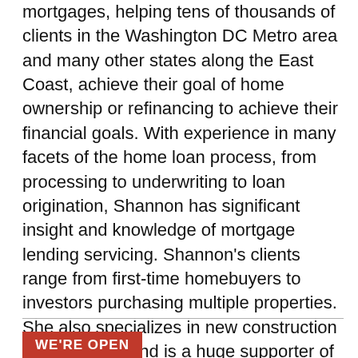mortgages, helping tens of thousands of clients in the Washington DC Metro area and many other states along the East Coast, achieve their goal of home ownership or refinancing to achieve their financial goals. With experience in many facets of the home loan process, from processing to underwriting to loan origination, Shannon has significant insight and knowledge of mortgage lending servicing. Shannon's clients range from first-time homebuyers to investors purchasing multiple properties. She also specializes in new construction and VA loans and is a huge supporter of our everyday heroes and First responders. The Leydig Team has partnered with top local real estate agents, financial planners, builders and other real estate and financial service professionals to provide you with the best mortgage experience customized for your personal financial story. Contact The Leydig Team - www.LendwithLeydig.com
LEARN MORE
WE'RE OPEN